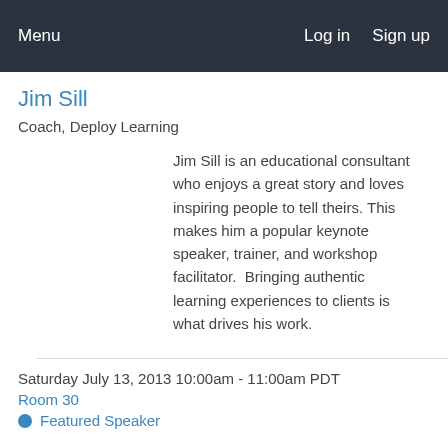Menu   Log in   Sign up
Jim Sill
Coach, Deploy Learning
Jim Sill is an educational consultant who enjoys a great story and loves inspiring people to tell theirs. This makes him a popular keynote speaker, trainer, and workshop facilitator.  Bringing authentic learning experiences to clients is what drives his work.
Saturday July 13, 2013 10:00am - 11:00am PDT
Room 30